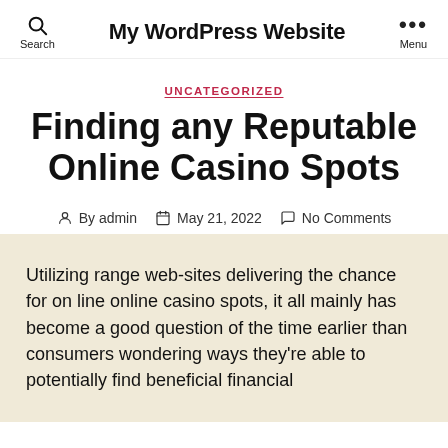My WordPress Website
UNCATEGORIZED
Finding any Reputable Online Casino Spots
By admin  May 21, 2022  No Comments
Utilizing range web-sites delivering the chance for on line online casino spots, it all mainly has become a good question of the time earlier than consumers wondering ways they're able to potentially find beneficial financial